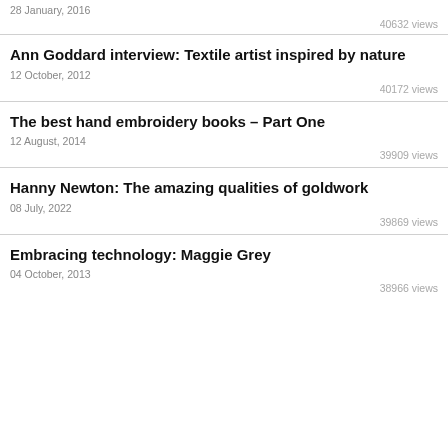28 January, 2016
40632 views
Ann Goddard interview: Textile artist inspired by nature
12 October, 2012
40172 views
The best hand embroidery books – Part One
12 August, 2014
39909 views
Hanny Newton: The amazing qualities of goldwork
08 July, 2022
39869 views
Embracing technology: Maggie Grey
04 October, 2013
38966 views